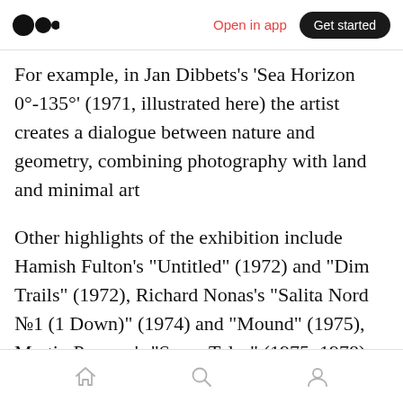Open in app | Get started
For example, in Jan Dibbets's ‘Sea Horizon 0°-135°’ (1971, illustrated here) the artist creates a dialogue between nature and geometry, combining photography with land and minimal art
Other highlights of the exhibition include Hamish Fulton’s “Untitled” (1972) and “Dim Trails” (1972), Richard Nonas’s “Salita Nord №1 (1 Down)” (1974) and “Mound” (1975), Martin Puryear’s “Some Tales” (1975–1978), Carole Seborovski’s “Cross Shape Valley” (1986), Roni
Home | Search | Profile